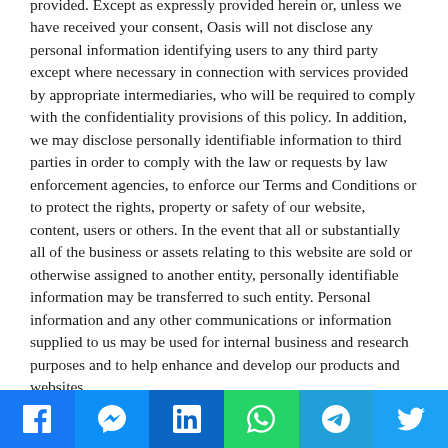provided. Except as expressly provided herein or, unless we have received your consent, Oasis will not disclose any personal information identifying users to any third party except where necessary in connection with services provided by appropriate intermediaries, who will be required to comply with the confidentiality provisions of this policy. In addition, we may disclose personally identifiable information to third parties in order to comply with the law or requests by law enforcement agencies, to enforce our Terms and Conditions or to protect the rights, property or safety of our website, content, users or others. In the event that all or substantially all of the business or assets relating to this website are sold or otherwise assigned to another entity, personally identifiable information may be transferred to such entity. Personal information and any other communications or information supplied to us may be used for internal business and research purposes and to help enhance and develop our products and websites.
If you provide us with your e-mail address, you may receive periodic catalogues or other notices containing information about services or upcoming events. On occasion, we may make our mailing address lists available to other companies who we...